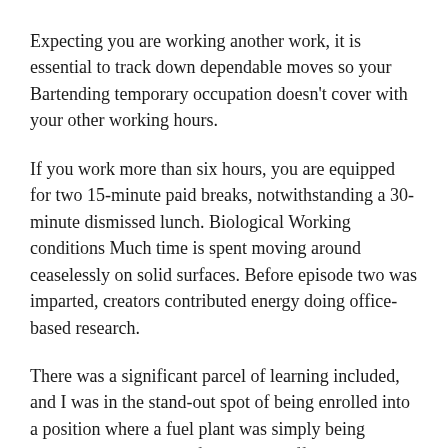Expecting you are working another work, it is essential to track down dependable moves so your Bartending temporary occupation doesn't cover with your other working hours.
If you work more than six hours, you are equipped for two 15-minute paid breaks, notwithstanding a 30-minute dismissed lunch. Biological Working conditions Much time is spent moving around ceaselessly on solid surfaces. Before episode two was imparted, creators contributed energy doing office-based research.
There was a significant parcel of learning included, and I was in the stand-out spot of being enrolled into a position where a fuel plant was simply being opened to clubs. One of only two staff people on the very sturdy staff, I was responsible for the readiness, in spite of the way that I had not even finished my time for testing.
I referenced extensively teaching and to have the choice to